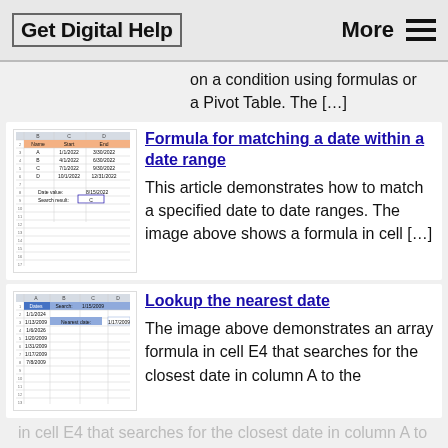Get Digital Help   More
on a condition using formulas or a Pivot Table. The […]
[Figure (screenshot): Excel spreadsheet thumbnail showing date range matching with columns Name, Start, End and rows A-D with dates, plus Date value and Search result fields]
Formula for matching a date within a date range
This article demonstrates how to match a specified date to date ranges. The image above shows a formula in cell […]
[Figure (screenshot): Excel spreadsheet thumbnail showing dates in column A and nearest date lookup with Search and Nearest date fields]
Lookup the nearest date
The image above demonstrates an array formula in cell E4 that searches for the closest date in column A to the